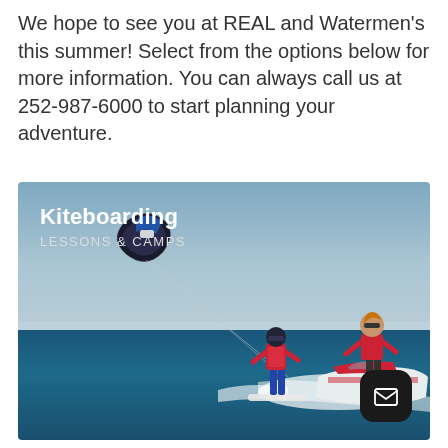We hope to see you at REAL and Watermen's this summer! Select from the options below for more information. You can always call us at 252-987-6000 to start planning your adventure.
[Figure (photo): A kiteboarding scene on open water showing a person being towed behind a jet ski, with a kite (CORE brand) visible in the sky. Overlay text reads 'Kiteboarding' in bold white and 'LESSONS & CAMPS' in white uppercase below. A dark rounded email icon button is in the bottom right corner.]